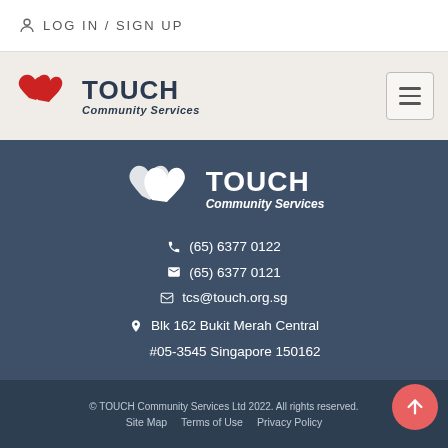LOG IN / SIGN UP
[Figure (logo): TOUCH Community Services logo with red heart icon in navigation header]
[Figure (logo): TOUCH Community Services white logo in footer]
(65) 6377 0122
(65) 6377 0121
tcs@touch.org.sg
Blk 162 Bukit Merah Central #05-3545 Singapore 150162
[Figure (infographic): Social media icons: Facebook, Instagram, LinkedIn, YouTube]
© TOUCH Community Services Ltd 2022. All rights reserved. Site Map   Terms of Use   Privacy Policy